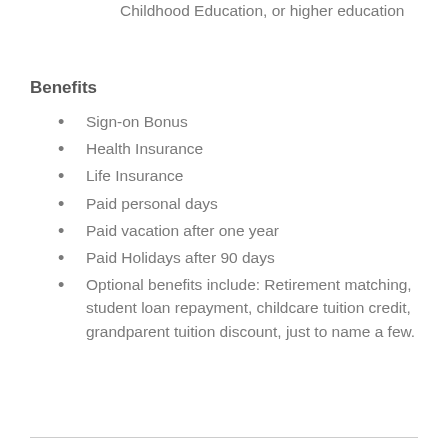Childhood Education, or higher education
Benefits
Sign-on Bonus
Health Insurance
Life Insurance
Paid personal days
Paid vacation after one year
Paid Holidays after 90 days
Optional benefits include: Retirement matching, student loan repayment, childcare tuition credit, grandparent tuition discount, just to name a few.